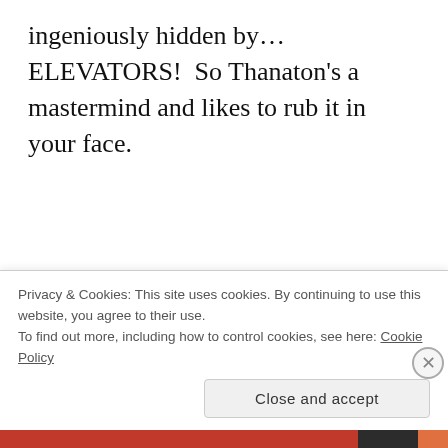ingeniously hidden by… ELEVATORS!  So Thanaton's a mastermind and likes to rub it in your face.
You can fight through the library if you really want, but a simple mind trick will let you just wander around without a single alarm being
Privacy & Cookies: This site uses cookies. By continuing to use this website, you agree to their use.
To find out more, including how to control cookies, see here: Cookie Policy
Close and accept